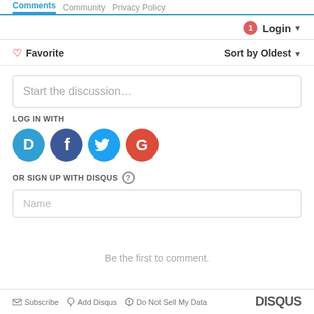Comments   Community   Privacy Policy
1  Login
♡ Favorite   Sort by Oldest
Start the discussion…
LOG IN WITH
[Figure (illustration): Social login icons: Disqus (blue circle with D), Facebook (dark blue circle with f), Twitter (light blue circle with bird), Google (red circle with G)]
OR SIGN UP WITH DISQUS ?
Name
Be the first to comment.
Subscribe   Add Disqus   Do Not Sell My Data   DISQUS